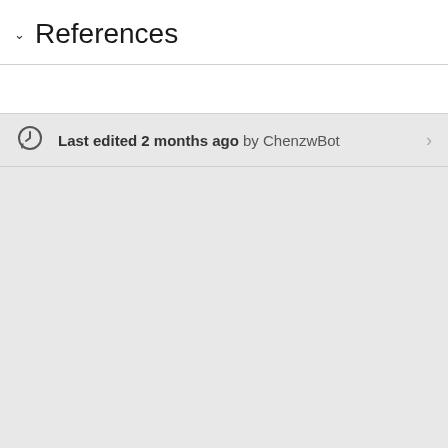References
Last edited 2 months ago by ChenzwBot